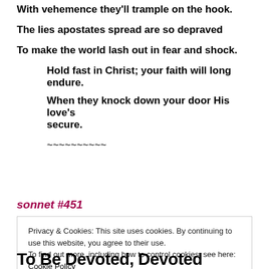With vehemence they'll trample on the hook.
The lies apostates spread are so depraved
To make the world lash out in fear and shock.
Hold fast in Christ; your faith will long endure.
When they knock down your door His love's secure.
~~~~~~~~~~
sonnet #451
Privacy & Cookies: This site uses cookies. By continuing to use this website, you agree to their use.
To find out more, including how to control cookies, see here: Cookie Policy
To Be Devoted, Devoted